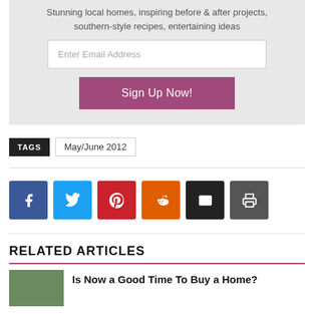Stunning local homes, inspiring before & after projects, southern-style recipes, entertaining ideas
[Figure (screenshot): Email signup form with text input field labeled 'Enter Email Address' and a purple 'Sign Up Now!' button on a light gray background]
TAGS  May/June 2012
[Figure (infographic): Social sharing buttons row: Facebook (blue), Twitter (cyan), Pinterest (red), Reddit (orange), Email (black), Print (dark gray)]
RELATED ARTICLES
Is Now a Good Time To Buy a Home?